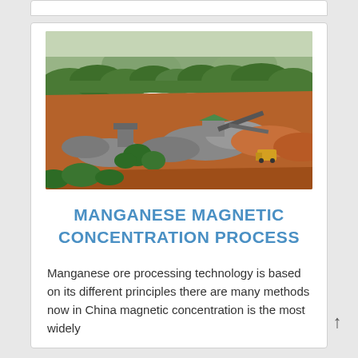[Figure (photo): Aerial/elevated view of an open-pit manganese mining operation. Red-orange earth excavation site with grey gravel piles, mining equipment, conveyor structures, a small building with green roof, a yellow truck visible in the background. Surrounded by lush green tropical forest and hills.]
MANGANESE MAGNETIC CONCENTRATION PROCESS
Manganese ore processing technology is based on its different principles there are many methods now in China magnetic concentration is the most widely